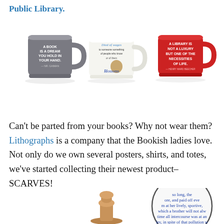Public Library.
[Figure (photo): Three mugs: a gray mug with 'A Book Is A Dream You Hold In Your Hand' quote, a white mug with literary text and author image, and a red mug with 'A Library Is Not A Luxury But One Of The Necessities Of Life' quote.]
Can't be parted from your books? Why not wear them? Lithographs is a company that the Bookish ladies love. Not only do we own several posters, shirts, and totes, we've started collecting their newest product–SCARVES!
[Figure (photo): A wooden stamp/seal object and a circular magnifier showing a passage of text from what appears to be a Jane Austen novel.]